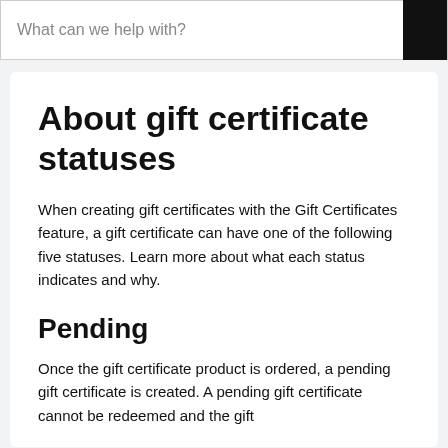What can we help with?
About gift certificate statuses
When creating gift certificates with the Gift Certificates feature, a gift certificate can have one of the following five statuses. Learn more about what each status indicates and why.
Pending
Once the gift certificate product is ordered, a pending gift certificate is created. A pending gift certificate cannot be redeemed and the gift